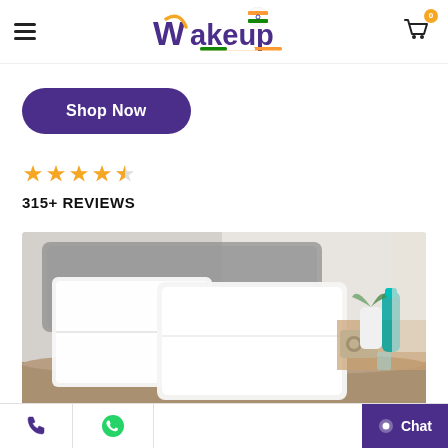WakeUp - navigation header with hamburger menu, logo, and cart icon
Shop Now
[Figure (other): Star rating showing 4.5 out of 5 stars in orange]
315+ REVIEWS
[Figure (photo): Two white bed pillows propped against a grey headboard on a bed with taupe sheets, with a teal glass bottle, white vase with plant, and wooden radio on a bedside table]
Phone icon | WhatsApp icon | Chat button